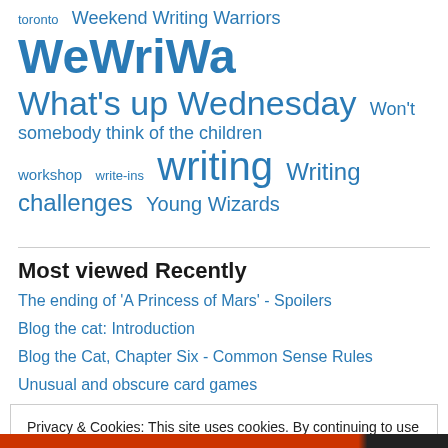toronto Weekend Writing Warriors WeWriWa What's up Wednesday Won't somebody think of the children workshop write-ins writing Writing challenges Young Wizards
Most viewed Recently
The ending of 'A Princess of Mars' - Spoilers
Blog the cat: Introduction
Blog the Cat, Chapter Six - Common Sense Rules
Unusual and obscure card games
Privacy & Cookies: This site uses cookies. By continuing to use this website, you agree to their use. To find out more, including how to control cookies, see here: Cookie Policy
Close and accept